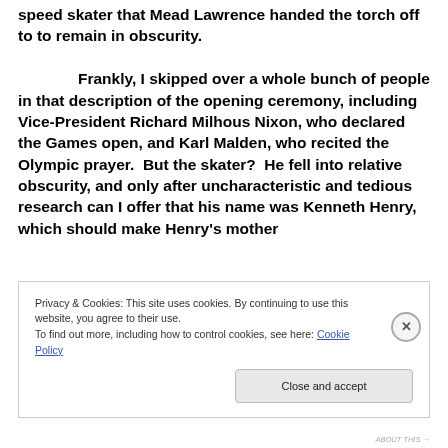speed skater that Mead Lawrence handed the torch off to to remain in obscurity. Frankly, I skipped over a whole bunch of people in that description of the opening ceremony, including Vice-President Richard Milhous Nixon, who declared the Games open, and Karl Malden, who recited the Olympic prayer. But the skater? He fell into relative obscurity, and only after uncharacteristic and tedious research can I offer that his name was Kenneth Henry, which should make Henry's mother
Privacy & Cookies: This site uses cookies. By continuing to use this website, you agree to their use.
To find out more, including how to control cookies, see here: Cookie Policy